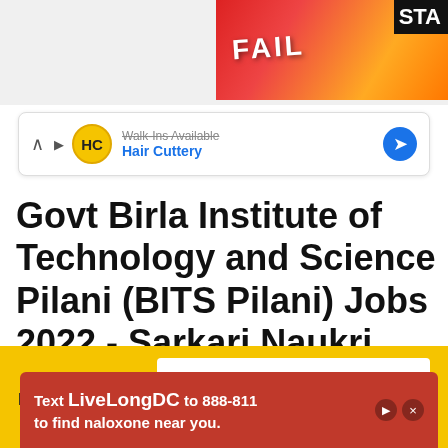[Figure (screenshot): Top advertisement banner with red/orange background showing 'FAIL' text and anime-style character, with 'STA' text on right edge]
[Figure (screenshot): Map/navigation ad bar showing Hair Cuttery with 'Walk-Ins Available' text and blue navigation arrow icon]
Govt Birla Institute of Technology and Science Pilani (BITS Pilani) Jobs 2022 - Sarkari Naukri
Free Job Alerts
[Figure (screenshot): Email subscription form with white text input field showing placeholder 'Enter your email' and blue Subscribe button on yellow background]
[Figure (advertisement): Red advertisement banner: Text LiveLongDC to 888-811 to find naloxone near you.]